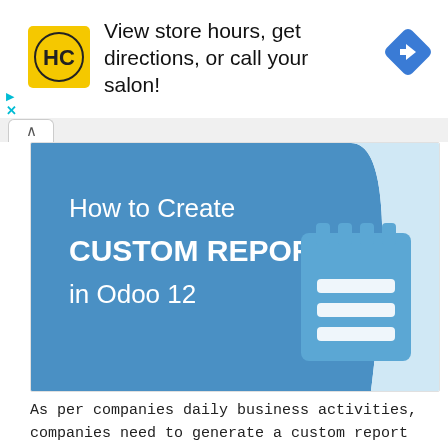[Figure (screenshot): Advertisement banner for Hair Club (HC) salon showing logo, text 'View store hours, get directions, or call your salon!' and a blue navigation diamond icon]
[Figure (illustration): Blog post hero image with blue trapezoidal background showing text 'How to Create CUSTOM REPORT in Odoo 12' and a notepad icon on the right]
As per companies daily business activities, companies need to generate a custom report according to their business flow. That is the reason today we bring for you, how to create a custom report in Odoo 12. You need to follow many things to create a custom report in Odoo 12. But don't worry we are going to show you